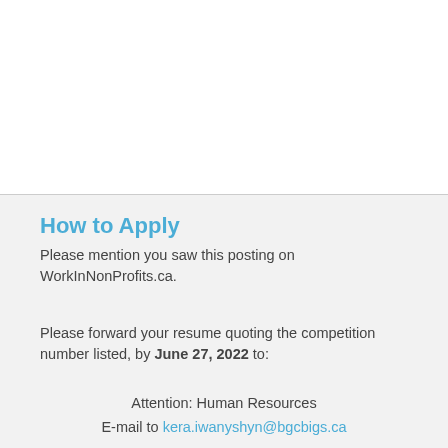How to Apply
Please mention you saw this posting on WorkInNonProfits.ca.
Please forward your resume quoting the competition number listed, by June 27, 2022 to:
Attention: Human Resources
E-mail to kera.iwanyshyn@bgcbigs.ca